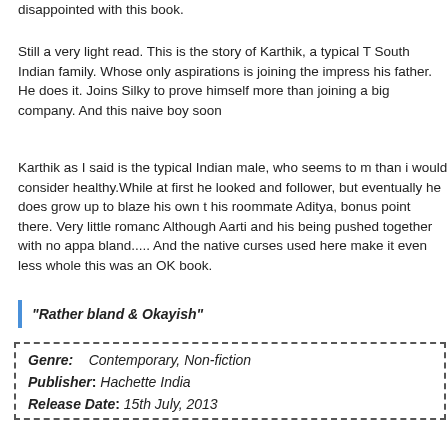disappointed with this book.
Still a very light read. This is the story of Karthik, a typical South Indian family. Whose only aspirations is joining the impress his father. He does it. Joins Silky to prove himself more than joining a big company. And this naive boy soon
Karthik as I said is the typical Indian male, who seems to m than i would consider healthy.While at first he looked and follower, but eventually he does grow up to blaze his own t his roommate Aditya, bonus point there. Very little romanc Although Aarti and his being pushed together with no appa bland..... And the native curses used here make it even less whole this was an OK book.
“Rather bland & Okayish”
| Genre: | Contemporary, Non-fiction |
| Publisher: | Hachette India |
| Release Date: | 15th July, 2013 |